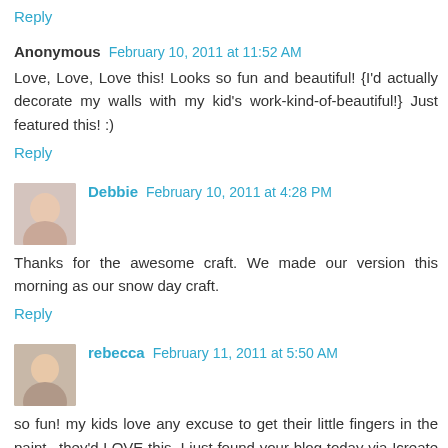Reply
Anonymous  February 10, 2011 at 11:52 AM
Love, Love, Love this! Looks so fun and beautiful! {I'd actually decorate my walls with my kid's work-kind-of-beautiful!} Just featured this! :)
Reply
Debbie  February 10, 2011 at 4:28 PM
Thanks for the awesome craft. We made our version this morning as our snow day craft.
Reply
rebecca  February 11, 2011 at 5:50 AM
so fun! my kids love any excuse to get their little fingers in the paint...they'd LOVE this. I just found your blog today via Icreate and I'm SO thrilled that I did!! :) Rebecca {simple